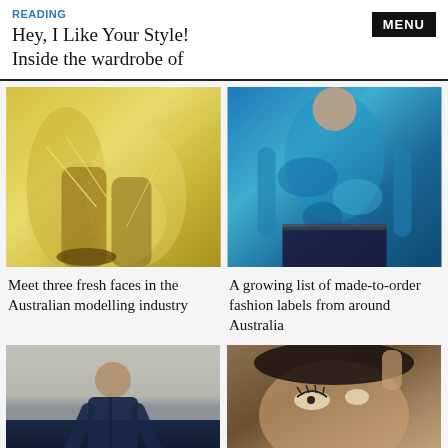READING
Hey, I Like Your Style! Inside the wardrobe of
[Figure (photo): Fashion photo of person wearing yellow draped outfit with yellow lace-up sandals]
[Figure (photo): Fashion photo of person wearing blue tie-dye long sleeve top with dark denim]
Meet three fresh faces in the Australian modelling industry
A growing list of made-to-order fashion labels from around Australia
[Figure (photo): Photo of young man in navy blue jacket standing against a wall]
[Figure (photo): Close-up photo of young Asian woman with artistic eye makeup being styled]